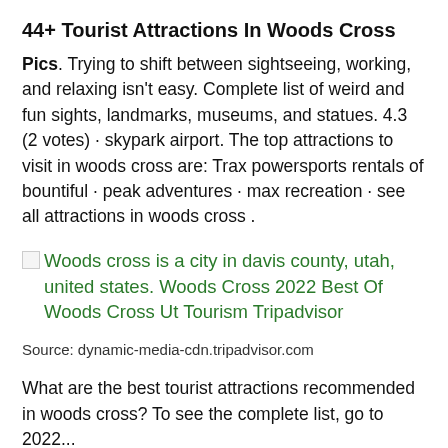44+ Tourist Attractions In Woods Cross
Pics. Trying to shift between sightseeing, working, and relaxing isn't easy. Complete list of weird and fun sights, landmarks, museums, and statues. 4.3 (2 votes) · skypark airport. The top attractions to visit in woods cross are: Trax powersports rentals of bountiful · peak adventures · max recreation · see all attractions in woods cross .
[Figure (other): Broken image icon placeholder followed by green hyperlink text reading: Woods cross is a city in davis county, utah, united states. Woods Cross 2022 Best Of Woods Cross Ut Tourism Tripadvisor]
Source: dynamic-media-cdn.tripadvisor.com
What are the best tourist attractions recommended in woods cross? To see the complete list, go to 2022...